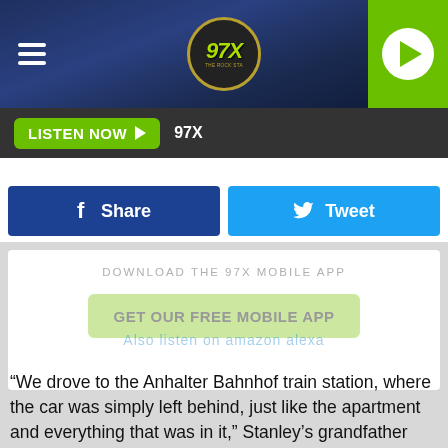[Figure (screenshot): 97X radio station header banner with dark blue metallic background, hamburger menu icon on left, 97X logo circle in center, green play button on right]
LISTEN NOW  97X
[Figure (other): Facebook Share button (dark blue) and Twitter Tweet button (light blue)]
DOWNLOAD THE 97X MOBILE APP
GET OUR FREE MOBILE APP
“We drove to the Anhalter Bahnhof train station, where the car was simply left behind, just like the apartment and everything that was in it,” Stanley’s grandfather wrote in his victim impact statement. “In order to remain inconspicuous, we chose the slowest train via Dresden to the Czech border at Tetschen-Bodenbach. Wife and child were seated in a